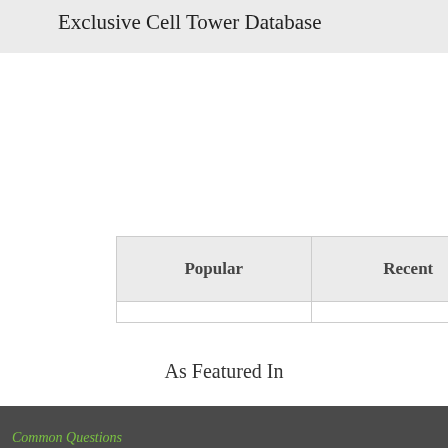Exclusive Cell Tower Database
| Popular | Recent |
| --- | --- |
|  |
FREE LEASE REVIEW
As Featured In
Common Questions